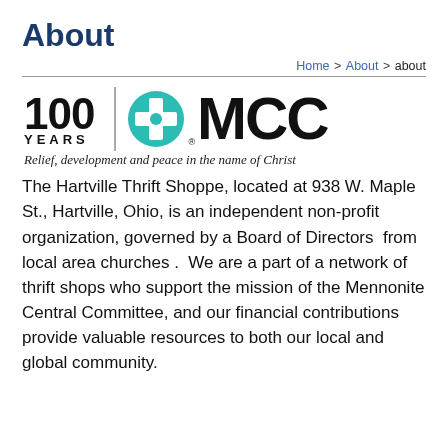About
Home > About > about
[Figure (logo): MCC 100 Years logo with globe icon and tagline: Relief, development and peace in the name of Christ]
The Hartville Thrift Shoppe, located at 938 W. Maple St., Hartville, Ohio, is an independent non-profit organization, governed by a Board of Directors  from local area churches .  We are a part of a network of thrift shops who support the mission of the Mennonite Central Committee, and our financial contributions provide valuable resources to both our local and global community.